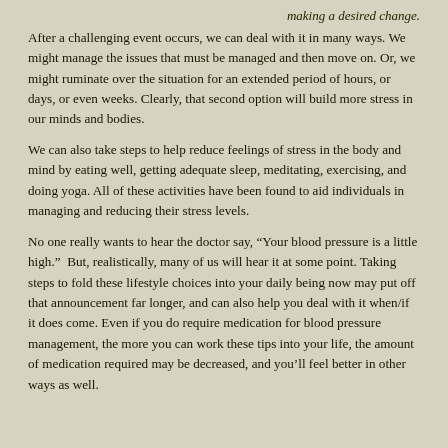making a desired change.
After a challenging event occurs, we can deal with it in many ways. We might manage the issues that must be managed and then move on. Or, we might ruminate over the situation for an extended period of hours, or days, or even weeks. Clearly, that second option will build more stress in our minds and bodies.
We can also take steps to help reduce feelings of stress in the body and mind by eating well, getting adequate sleep, meditating, exercising, and doing yoga. All of these activities have been found to aid individuals in managing and reducing their stress levels.
No one really wants to hear the doctor say, “Your blood pressure is a little high.”  But, realistically, many of us will hear it at some point. Taking steps to fold these lifestyle choices into your daily being now may put off that announcement far longer, and can also help you deal with it when/if it does come. Even if you do require medication for blood pressure management, the more you can work these tips into your life, the amount of medication required may be decreased, and you’ll feel better in other ways as well.